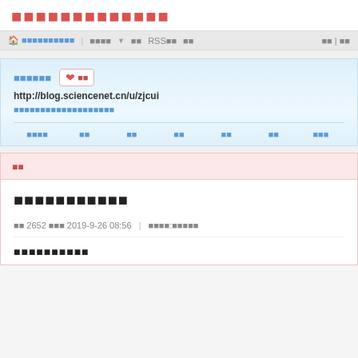科学网博客
首页 博主个人页 会员注册 RSS订阅 仅博主可看 登录 注册
崔振东 关注 http://blog.sciencenet.cn/u/zjcui 岩石力学与工程数值模拟研究
博文 文章 相册 博客 群组 分享 收藏
博文
岩石力学数值模拟研究
热度 2652 次 时间 2019-9-26 08:56 | 个人分类:岩石力学
岩石破裂过程分析